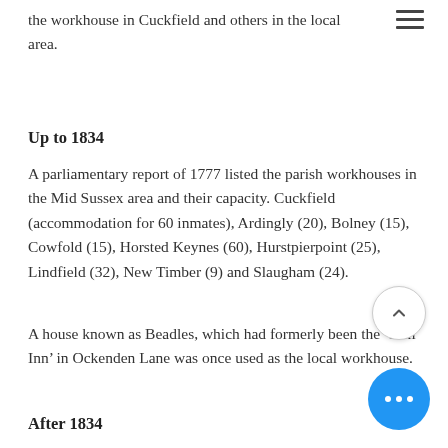the workhouse in Cuckfield and others in the local area.
Up to 1834
A parliamentary report of 1777 listed the parish workhouses in the Mid Sussex area and their capacity. Cuckfield (accommodation for 60 inmates), Ardingly (20), Bolney (15), Cowfold (15), Horsted Keynes (60), Hurstpierpoint (25), Lindfield (32), New Timber (9) and Slaugham (24).
A house known as Beadles, which had formerly been the ‘Bull Inn’ in Ockenden Lane was once used as the local workhouse.
After 1834